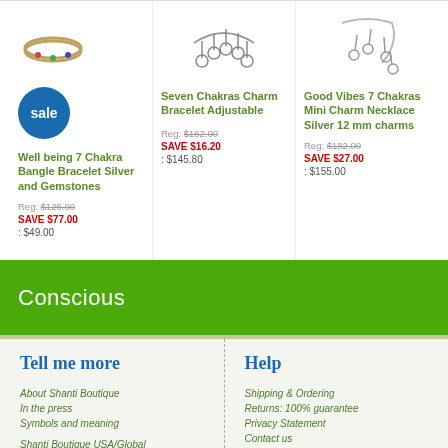[Figure (photo): Photo of Well being 7 Chakra Bangle Bracelet Silver and Gemstones with sale badge]
Well being 7 Chakra Bangle Bracelet Silver and Gemstones
Reg: $126.00 SAVE $77.00 : $49.00
[Figure (photo): Photo of Seven Chakras Charm Bracelet Adjustable]
Seven Chakras Charm Bracelet Adjustable
Reg: $162.00 SAVE $16.20 : $145.80
[Figure (photo): Photo of Good Vibes 7 Chakras Mini Charm Necklace Silver 12 mm charms]
Good Vibes 7 Chakras Mini Charm Necklace Silver 12 mm charms
Reg: $182.00 SAVE $27.00 : $155.00
Conscious
Tell me more
About Shanti Boutique
In the press
Symbols and meaning
Shanti Boutique USA/Global
Site index
EU english site
Help
Shipping & Ordering
Returns: 100% guarantee
Privacy Statement
Contact us
I forgot my password